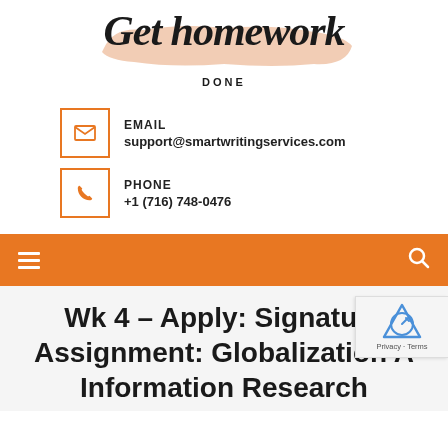[Figure (logo): Get homework Done logo with cursive script on a peach/salmon brush stroke background]
EMAIL
support@smartwritingservices.com
PHONE
+1 (716) 748-0476
Wk 4 – Apply: Signature Assignment: Globalization A Information Research